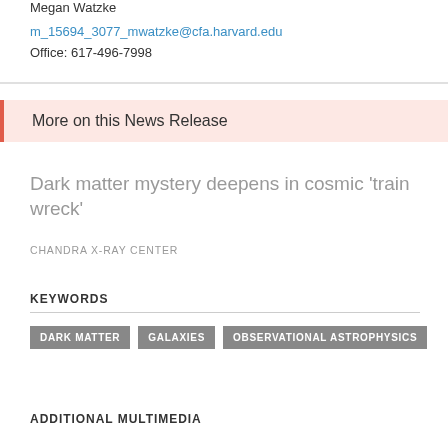Megan Watzke
m_15694_3077_mwatzke@cfa.harvard.edu
Office: 617-496-7998
More on this News Release
Dark matter mystery deepens in cosmic 'train wreck'
CHANDRA X-RAY CENTER
KEYWORDS
DARK MATTER
GALAXIES
OBSERVATIONAL ASTROPHYSICS
ADDITIONAL MULTIMEDIA